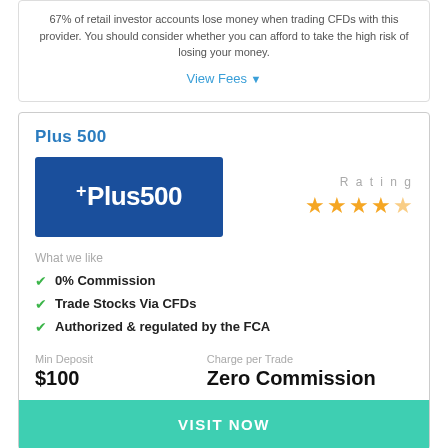67% of retail investor accounts lose money when trading CFDs with this provider. You should consider whether you can afford to take the high risk of losing your money.
View Fees ▼
Plus500
[Figure (logo): Plus500 logo — white text on dark blue background]
Rating ★★★★☆ (4.5 stars)
What we like
0% Commission
Trade Stocks Via CFDs
Authorized & regulated by the FCA
Min Deposit
$100
Charge per Trade
Zero Commission
VISIT NOW